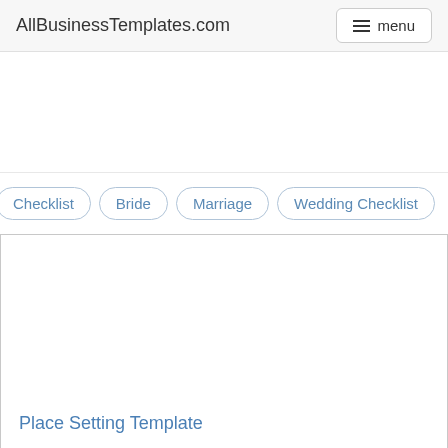AllBusinessTemplates.com  menu
[Figure (other): Advertisement area, blank white space]
Checklist
Bride
Marriage
Wedding Checklist
[Figure (other): Content card with blank white image area]
Place Setting Template